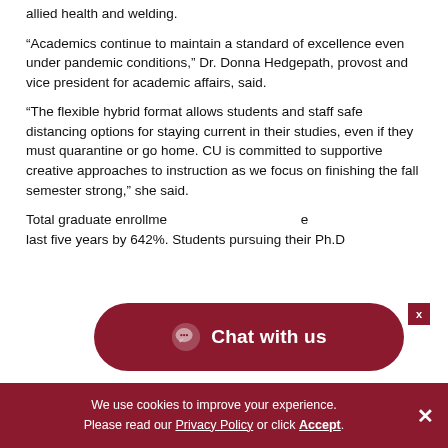allied health and welding.
“Academics continue to maintain a standard of excellence even under pandemic conditions,” Dr. Donna Hedgepath, provost and vice president for academic affairs, said.
“The flexible hybrid format allows students and staff safe distancing options for staying current in their studies, even if they must quarantine or go home. CU is committed to supportive creative approaches to instruction as we focus on finishing the fall semester strong,” she said.
Total graduate enrollment has grown over the last five years by 642%. Students pursuing their Ph.D.